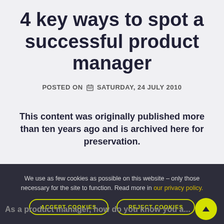4 key ways to spot a successful product manager
POSTED ON 📅 SATURDAY, 24 JULY 2010
This content was originally published more than ten years ago and is archived here for preservation.
We use as few cookies as possible on this website – only those necessary for the site to function. Read more in our privacy policy.
As a product manager, how do you know you a...